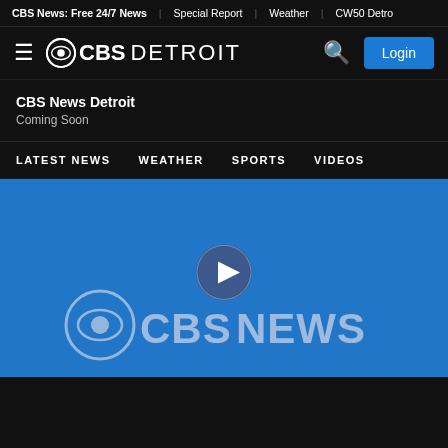CBS News: Free 24/7 News | Special Report | Weather | CW50 Detroit
[Figure (logo): CBS Detroit logo with hamburger menu, eye icon, CBS DETROIT text, search icon, and Login button]
CBS News Detroit
Coming Soon
LATEST NEWS   WEATHER   SPORTS   VIDEOS
[Figure (screenshot): Blue video player area showing CBS NEWS logo with play button overlay on blue background]